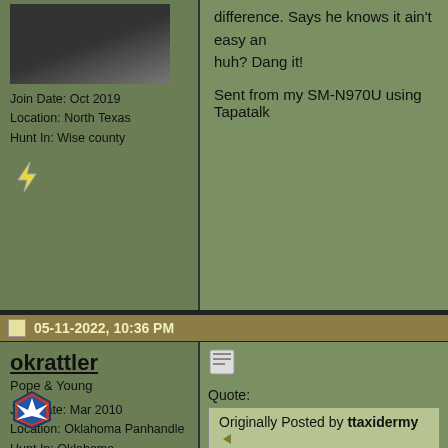difference. Says he knows it ain't easy an huh? Dang it!
Sent from my SM-N970U using Tapatalk
Join Date: Oct 2019
Location: North Texas
Hunt In: Wise county
05-11-2022, 10:36 PM
okrattler
Pope & Young
Join Date: Mar 2010
Location: Oklahoma Panhandle
Hunt In: Oklahoma
Quote:
Originally Posted by ttaxidermy
I say 3 months.. And what happens c make it a bteer place..
That would be plenty long enough.
You know what kills me? I've personally s the next. They're only good when some p fighting a war for a nation that is ungratetf
05-11-2022, 10:40 PM